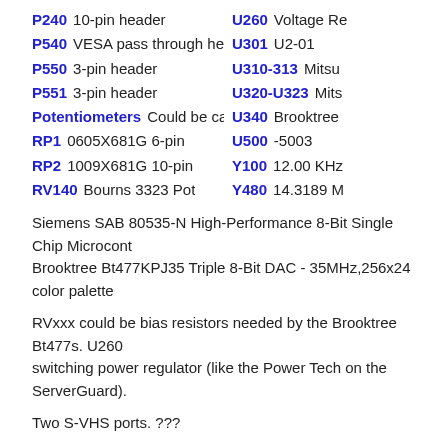P240 10-pin header
P540 VESA pass through header
P550 3-pin header
P551 3-pin header
Potentiometers Could be caps- marked '501'
RP1 0605X681G 6-pin
RP2 1009X681G 10-pin
RV140 Bourns 3323 Pot
U260 Voltage Re
U301 U2-01
U310-313 Mitsu
U320-U323 Mits
U340 Brooktree
U500 -5003
Y100 12.00 KHz
Y480 14.3189 M
Siemens SAB 80535-N High-Performance 8-Bit Single Chip Microcont Brooktree Bt477KPJ35 Triple 8-Bit DAC - 35MHz,256x24 color palette
RVxxx could be bias resistors needed by the Brooktree Bt477s. U260 switching power regulator (like the Power Tech on the ServerGuard).
Two S-VHS ports. ???
No idea what ADF. If you have this card, or documentation on it, Conta
Magni Remote Control Unit "RCU" (from Dave Keiller)